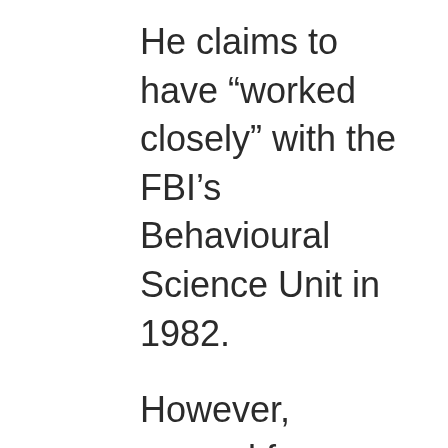He claims to have “worked closely” with the FBI’s Behavioural Science Unit in 1982.
However, several former FBI agents who were present when Harrison said he had been in Quantico, VA had no recollection of him. They denied knowing anyone who resembled Harrison and